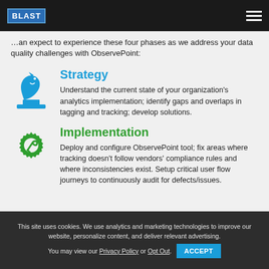BLAST [logo] — navigation bar with hamburger menu
…an expect to experience these four phases as we address your data quality challenges with ObservePoint:
[Figure (illustration): Blue chess knight piece icon representing Strategy phase]
Strategy
Understand the current state of your organization's analytics implementation; identify gaps and overlaps in tagging and tracking; develop solutions.
[Figure (illustration): Green gear with wrench/tool icon representing Implementation phase]
Implementation
Deploy and configure ObservePoint tool; fix areas where tracking doesn't follow vendors' compliance rules and where inconsistencies exist. Setup critical user flow journeys to continuously audit for defects/issues.
This site uses cookies. We use analytics and marketing technologies to improve our website, personalize content, and deliver relevant advertising. You may view our Privacy Policy or Opt Out. ACCEPT